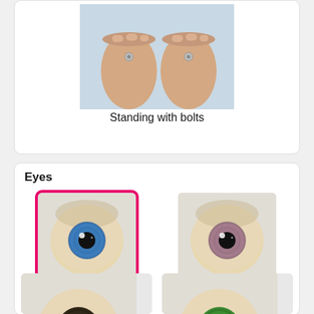[Figure (photo): Two doll feet standing with metal bolts visible, shown from front]
Standing with bolts
Eyes
[Figure (photo): Doll eye - Blue iris with black pupil, selected with pink border]
Blue
[Figure (photo): Doll eye - Brown/mauve iris with black pupil]
Brown
[Figure (photo): Doll eye - Dark brown/black iris, partially cropped]
[Figure (photo): Doll eye - Green iris, partially cropped]